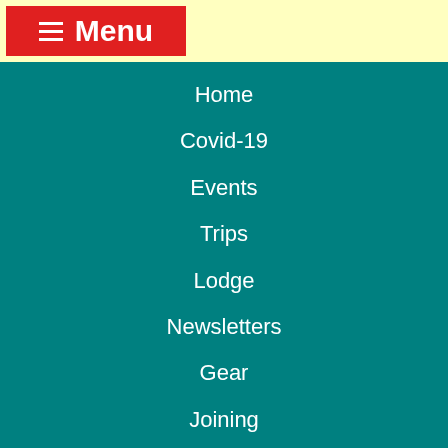≡ Menu
Home
Covid-19
Events
Trips
Lodge
Newsletters
Gear
Joining
Contacts
Photos